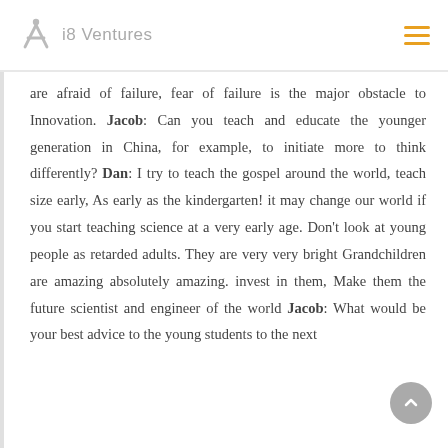i8 Ventures
are afraid of failure, fear of failure is the major obstacle to Innovation. Jacob: Can you teach and educate the younger generation in China, for example, to initiate more to think differently? Dan: I try to teach the gospel around the world, teach size early, As early as the kindergarten! it may change our world if you start teaching science at a very early age. Don't look at young people as retarded adults. They are very very bright Grandchildren are amazing absolutely amazing. invest in them, Make them the future scientist and engineer of the world Jacob: What would be your best advice to the young students to the next